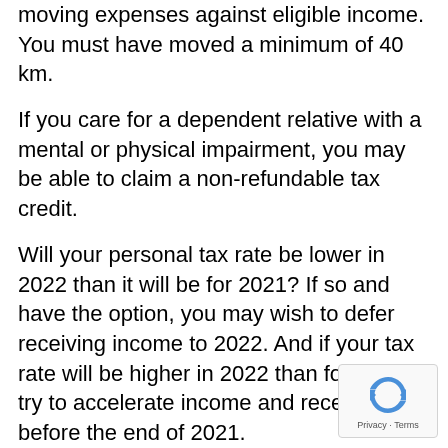moving expenses against eligible income. You must have moved a minimum of 40 km.
If you care for a dependent relative with a mental or physical impairment, you may be able to claim a non-refundable tax credit.
Will your personal tax rate be lower in 2022 than it will be for 2021? If so and have the option, you may wish to defer receiving income to 2022. And if your tax rate will be higher in 2022 than for 2021, try to accelerate income and receive it before the end of 2021.
There are a few options available to you when it comes to tax tips if you are enrolled in school:
If you are between the ages of 25 to